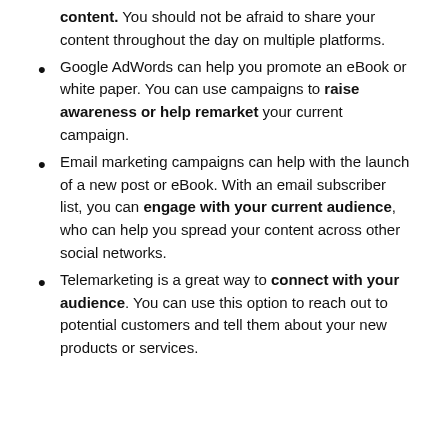content. You should not be afraid to share your content throughout the day on multiple platforms.
Google AdWords can help you promote an eBook or white paper. You can use campaigns to raise awareness or help remarket your current campaign.
Email marketing campaigns can help with the launch of a new post or eBook. With an email subscriber list, you can engage with your current audience, who can help you spread your content across other social networks.
Telemarketing is a great way to connect with your audience. You can use this option to reach out to potential customers and tell them about your new products or services.